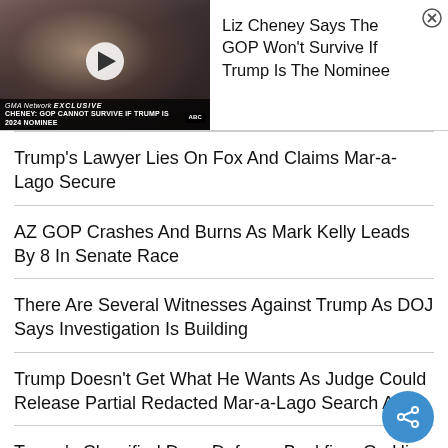[Figure (screenshot): Video thumbnail showing Trump at a rally, with play button overlay and ABC News lower-third: 'CHENEY: GOP CANNOT SURVIVE IF TRUMP IS 2024 NOMINEE']
Liz Cheney Says The GOP Won't Survive If Trump Is The Nominee
Trump's Lawyer Lies On Fox And Claims Mar-a-Lago Secure
AZ GOP Crashes And Burns As Mark Kelly Leads By 8 In Senate Race
There Are Several Witnesses Against Trump As DOJ Says Investigation Is Building
Trump Doesn't Get What He Wants As Judge Could Release Partial Redacted Mar-a-Lago Search Affid
Trump's Classified Docs Defense Backfires On Him